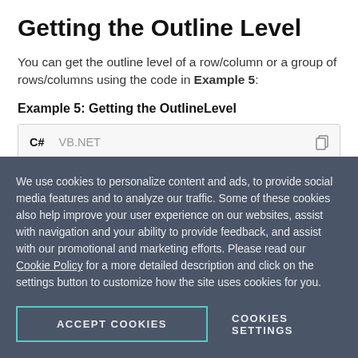Getting the Outline Level
You can get the outline level of a row/column or a group of rows/columns using the code in Example 5:
Example 5: Getting the OutlineLevel
[Figure (screenshot): Code snippet box with C# and VB.NET tabs, showing partial code: RangePropertyValue<int> outlineLevelRangeValue = with a blue arrow/highlight]
We use cookies to personalize content and ads, to provide social media features and to analyze our traffic. Some of these cookies also help improve your user experience on our websites, assist with navigation and your ability to provide feedback, and assist with our promotional and marketing efforts. Please read our Cookie Policy for a more detailed description and click on the settings button to customize how the site uses cookies for you.
ACCEPT COOKIES    COOKIES SETTINGS